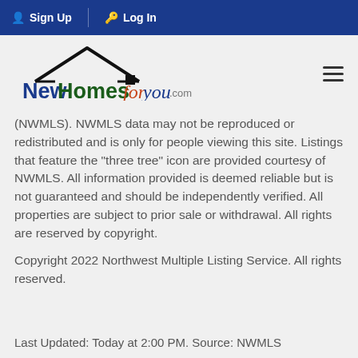Sign Up  Log In
[Figure (logo): NewHomesforyou.com logo with house roof graphic above text]
(NWMLS). NWMLS data may not be reproduced or redistributed and is only for people viewing this site. Listings that feature the "three tree" icon are provided courtesy of NWMLS. All information provided is deemed reliable but is not guaranteed and should be independently verified. All properties are subject to prior sale or withdrawal. All rights are reserved by copyright.

Copyright 2022 Northwest Multiple Listing Service. All rights reserved.
Last Updated: Today at 2:00 PM. Source: NWMLS